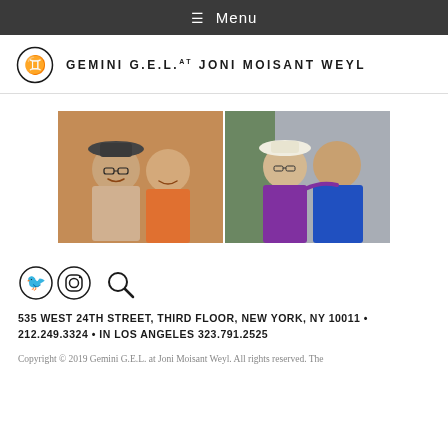≡ Menu
GEMINI G.E.L. AT JONI MOISANT WEYL
[Figure (photo): Two side-by-side photographs: left photo shows two men smiling together, one wearing a dark hat and glasses, the other in an orange shirt; right photo shows two men posing together outdoors, one in a white hat and purple jacket, the other in a blue shirt.]
[Figure (infographic): Twitter bird icon, Instagram camera icon, and search magnifying glass icon]
535 WEST 24TH STREET, THIRD FLOOR, NEW YORK, NY 10011 • 212.249.3324 • IN LOS ANGELES 323.791.2525
Copyright © 2019 Gemini G.E.L. at Joni Moisant Weyl. All rights reserved. The